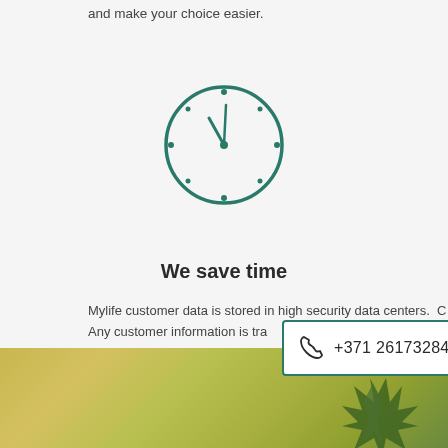and make your choice easier.
[Figure (illustration): Teal clock icon with hour and minute hands, dots at hour positions, circle outline]
We save time
Mylife customer data is stored in high security data centers. Any customer information is transmitted via encrypted channels. As well as our technical monitors the security of the website.
[Figure (infographic): Phone number overlay box with teal border showing +371 26173284]
[Figure (photo): Blurred green and yellow nature/plant background photo strip at bottom of page]